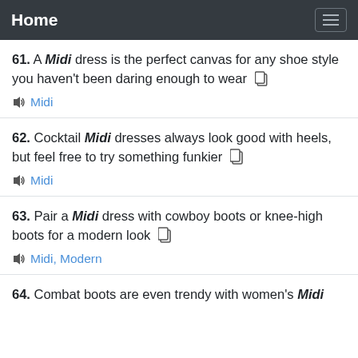Home
61. A Midi dress is the perfect canvas for any shoe style you haven't been daring enough to wear
Tags: Midi
62. Cocktail Midi dresses always look good with heels, but feel free to try something funkier
Tags: Midi
63. Pair a Midi dress with cowboy boots or knee-high boots for a modern look
Tags: Midi, Modern
64. Combat boots are even trendy with women's Midi